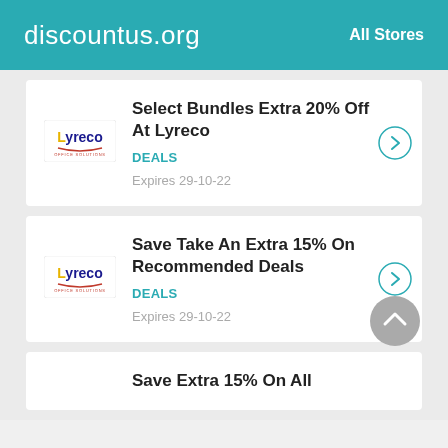discountus.org   All Stores
Select Bundles Extra 20% Off At Lyreco
DEALS
Expires 29-10-22
Save Take An Extra 15% On Recommended Deals
DEALS
Expires 29-10-22
Save Extra 15% On All